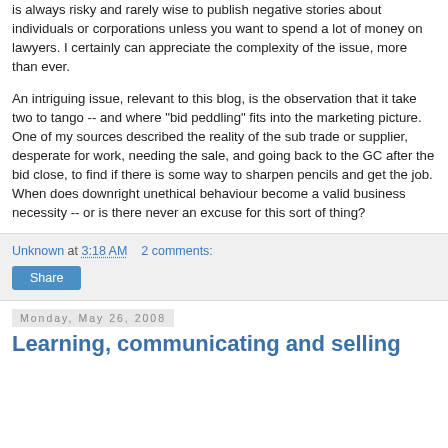is always risky and rarely wise to publish negative stories about individuals or corporations unless you want to spend a lot of money on lawyers. I certainly can appreciate the complexity of the issue, more than ever.
An intriguing issue, relevant to this blog, is the observation that it take two to tango -- and where "bid peddling" fits into the marketing picture. One of my sources described the reality of the sub trade or supplier, desperate for work, needing the sale, and going back to the GC after the bid close, to find if there is some way to sharpen pencils and get the job. When does downright unethical behaviour become a valid business necessity -- or is there never an excuse for this sort of thing?
Unknown at 3:18 AM   2 comments:
Share
Monday, May 26, 2008
Learning, communicating and selling